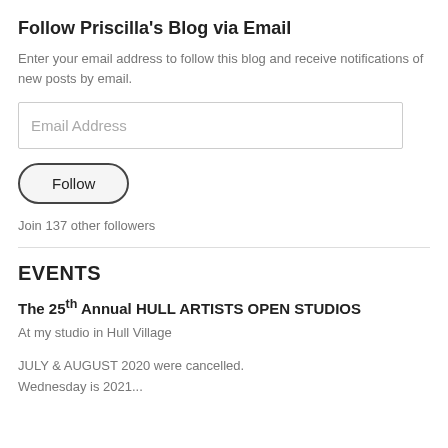Follow Priscilla's Blog via Email
Enter your email address to follow this blog and receive notifications of new posts by email.
Email Address
Follow
Join 137 other followers
EVENTS
The 25th Annual HULL ARTISTS OPEN STUDIOS
At my studio in Hull Village
JULY & AUGUST 2020 were cancelled.
Wednesday is 2021...